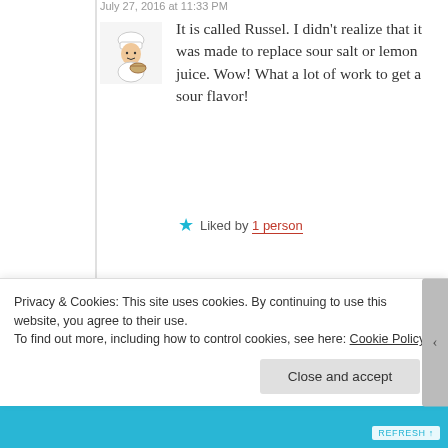July 27, 2016 at 11:33 PM
It is called Russel. I didn't realize that it was made to replace sour salt or lemon juice. Wow! What a lot of work to get a sour flavor!
Liked by 1 person
KOOLKOSHERKITCHEN   July 27, 2016 at 11:22 PM
Interesting – what is called Russel? I just buy Sour Salt in any kosher grocery. Actually, pickling beats is
Privacy & Cookies: This site uses cookies. By continuing to use this website, you agree to their use.
To find out more, including how to control cookies, see here: Cookie Policy
Close and accept